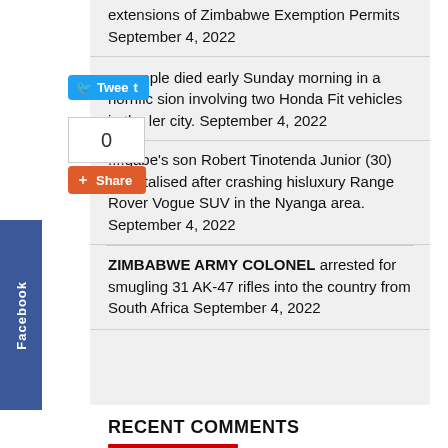extensions of Zimbabwe Exemption Permits September 4, 2022
...people died early Sunday morning in a horrific sion involving two Honda Fit vehicles in the ler city. September 4, 2022
....gabe's son Robert Tinotenda Junior (30) hospitalised after crashing hisluxury Range Rover Vogue SUV in the Nyanga area. September 4, 2022
ZIMBABWE ARMY COLONEL arrested for smugling 31 AK-47 rifles into the country from South Africa September 4, 2022
RECENT COMMENTS